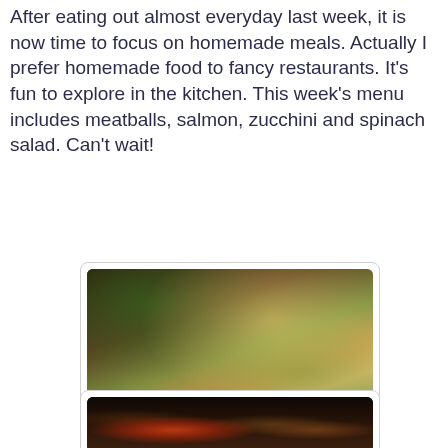After eating out almost everyday last week, it is now time to focus on homemade meals. Actually I prefer homemade food to fancy restaurants. It's fun to explore in the kitchen. This week's menu includes meatballs, salmon, zucchini and spinach salad. Can't wait!
[Figure (photo): A photo of a cookbook on a wooden surface with potted plants in the background and warm sunlight]
Inspiration: paleo
[Figure (photo): A dark photo of items on a shelf including a red cylindrical container and various books or packets]